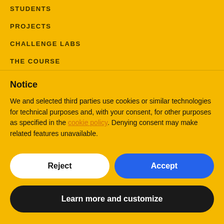STUDENTS
PROJECTS
CHALLENGE LABS
THE COURSE
Notice
We and selected third parties use cookies or similar technologies for technical purposes and, with your consent, for other purposes as specified in the cookie policy. Denying consent may make related features unavailable.
Reject
Accept
Learn more and customize